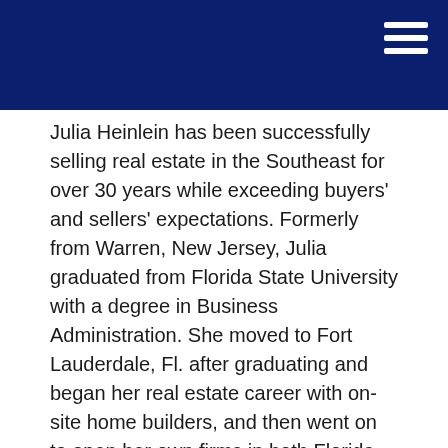Julia Heinlein has been successfully selling real estate in the Southeast for over 30 years while exceeding buyers' and sellers' expectations. Formerly from Warren, New Jersey, Julia graduated from Florida State University with a degree in Business Administration. She moved to Fort Lauderdale, Fl. after graduating and began her real estate career with on-site home builders, and then went on to open her own firms in both Florida and North Carolina for the next 20 years. After selling her Banner Elk, NC, company, Antler Realty, Julia has returned to our beautiful coast to be near her true love, "The Ocean."
Julia resides in the Market Commons area and enjoys an active lifestyle of biking, dancing,